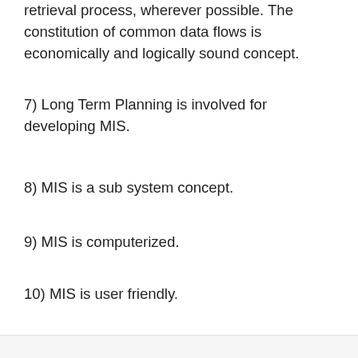retrieval process, wherever possible. The constitution of common data flows is economically and logically sound concept.
7) Long Term Planning is involved for developing MIS.
8) MIS is a sub system concept.
9) MIS is computerized.
10) MIS is user friendly.
What Is Joint Stock Company?
What Is Business Environment?